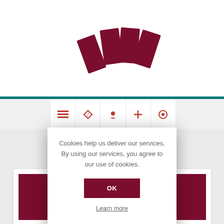[Figure (logo): Four dark red rectangular card/bookmark shapes arranged at angles as a logo]
[Figure (screenshot): Navigation bar with icons partially visible beneath cookie modal]
Cookies help us deliver our services. By using our services, you agree to our use of cookies.
OK
Learn more
[Figure (photo): Dark maroon/wine colored image block at the bottom of the page]